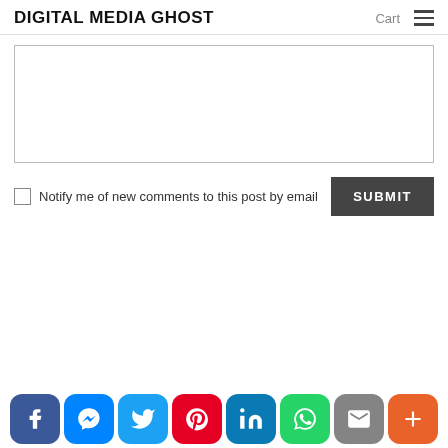DIGITAL MEDIA GHOST   Cart ≡
[Figure (screenshot): Comment text area input box, empty]
Notify me of new comments to this post by email   SUBMIT
[Figure (infographic): Social sharing bar with icons: Facebook, Messenger, Twitter, Pinterest, LinkedIn, WhatsApp, Email, More]